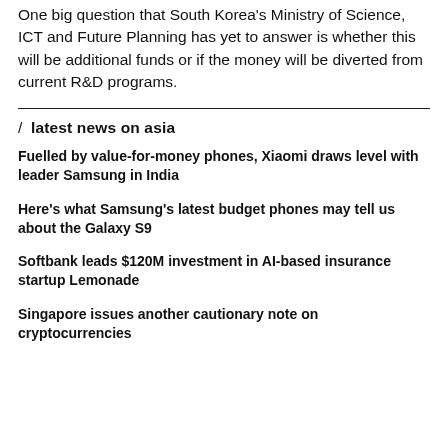One big question that South Korea's Ministry of Science, ICT and Future Planning has yet to answer is whether this will be additional funds or if the money will be diverted from current R&D programs.
/ latest news on asia
Fuelled by value-for-money phones, Xiaomi draws level with leader Samsung in India
Here's what Samsung's latest budget phones may tell us about the Galaxy S9
Softbank leads $120M investment in AI-based insurance startup Lemonade
Singapore issues another cautionary note on cryptocurrencies